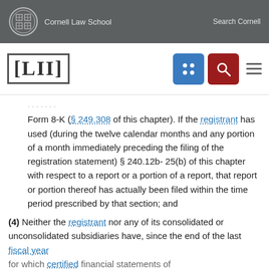Cornell Law School   Search Cornell
[Figure (logo): LII Legal Information Institute logo with navigation icons]
Form 8-K (§ 249.308 of this chapter). If the registrant has used (during the twelve calendar months and any portion of a month immediately preceding the filing of the registration statement) § 240.12b-25(b) of this chapter with respect to a report or a portion of a report, that report or portion thereof has actually been filed within the time period prescribed by that section; and
(4) Neither the registrant nor any of its consolidated or unconsolidated subsidiaries have, since the end of the last fiscal year for which certified financial statements of